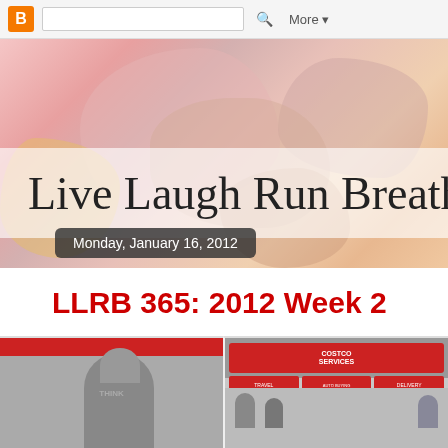Blogger top bar with search box and More button
[Figure (illustration): Blog header banner with watercolor abstract background in pinks, peaches, and oranges]
Live Laugh Run Breathe
Monday, January 16, 2012
LLRB 365: 2012 Week 2
This week Michigan proved the adage, "if you don't like the weather, wai... We started the week with 50 degree temps and ended with a bliz...
Sunday
1-8-12
Braved the crowds at Costco on a Sunday. Insa...
[Figure (photo): Two photos side by side: left shows a person in a grey hoodie from behind, right shows Costco store interior with signage for Costco Services including Travel, Buying, Delivery]